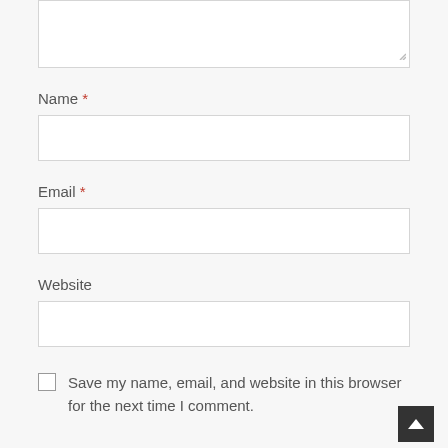[Figure (screenshot): Textarea input box (top portion cut off), part of a comment form]
Name *
[Figure (screenshot): Name text input field box]
Email *
[Figure (screenshot): Email text input field box]
Website
[Figure (screenshot): Website text input field box]
Save my name, email, and website in this browser for the next time I comment.